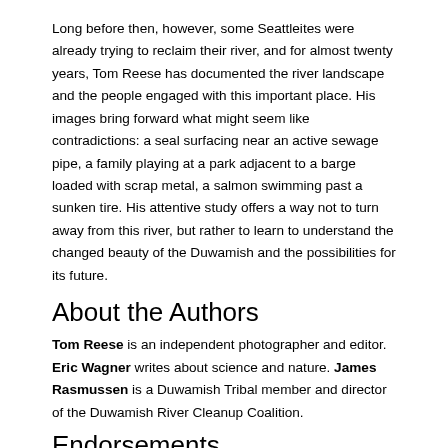Long before then, however, some Seattleites were already trying to reclaim their river, and for almost twenty years, Tom Reese has documented the river landscape and the people engaged with this important place. His images bring forward what might seem like contradictions: a seal surfacing near an active sewage pipe, a family playing at a park adjacent to a barge loaded with scrap metal, a salmon swimming past a sunken tire. His attentive study offers a way not to turn away from this river, but rather to learn to understand the changed beauty of the Duwamish and the possibilities for its future.
About the Authors
Tom Reese is an independent photographer and editor. Eric Wagner writes about science and nature. James Rasmussen is a Duwamish Tribal member and director of the Duwamish River Cleanup Coalition.
Endorsements